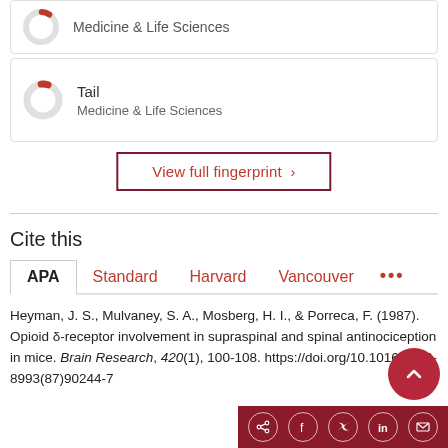[Figure (donut-chart): Partial donut chart with small red section, labeled Medicine & Life Sciences]
Medicine & Life Sciences
[Figure (donut-chart): Partial donut chart with small red section labeled Tail, Medicine & Life Sciences]
Tail
Medicine & Life Sciences
View full fingerprint ›
Cite this
APA  Standard  Harvard  Vancouver  ...
Heyman, J. S., Mulvaney, S. A., Mosberg, H. I., & Porreca, F. (1987). Opioid δ-receptor involvement in supraspinal and spinal antinociception in mice. Brain Research, 420(1), 100-108. https://doi.org/10.1016/0006-8993(87)90244-7